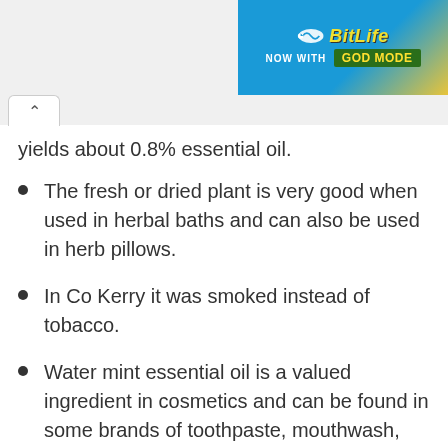[Figure (screenshot): BitLife app advertisement banner with 'NOW WITH GOD MODE' text on blue and yellow background]
yields about 0.8% essential oil.
The fresh or dried plant is very good when used in herbal baths and can also be used in herb pillows.
In Co Kerry it was smoked instead of tobacco.
Water mint essential oil is a valued ingredient in cosmetics and can be found in some brands of toothpaste, mouthwash, after shave or shower gel.